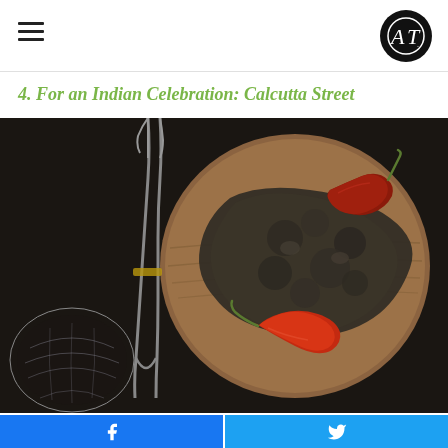AT logo and hamburger menu
4. For an Indian Celebration: Calcutta Street
[Figure (photo): Overhead view of dark Indian curry dish on a round wooden board with two dried red chili peppers, alongside a glass and a serving fork on a dark background]
[Figure (infographic): Facebook and Twitter share buttons at the bottom of the page]